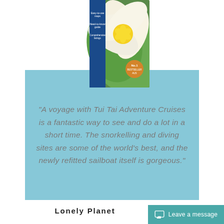[Figure (illustration): Lonely Planet travel guide book cover with a white and yellow tropical flower (plumeria/frangipani) on a green background, with a blue spine showing text 'Easy-to-use maps', 'Need-to-know guide', 'Comprehensive listings' and a gold 'No.1' badge]
"A voyage with Tui Tai Adventure Cruises is a fantastic way to see and do a lot in a short time. The snorkelling and diving sites are some of the world's best, and the newly refitted sailboat itself is gorgeous."
Lonely Planet
Leave a message